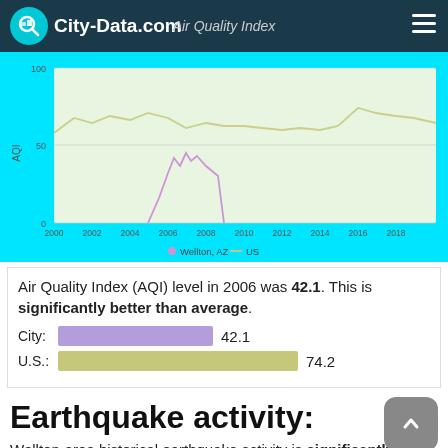City-Data.com — Air Quality Index
[Figure (line-chart): Line chart showing AQI from 2000 to 2019 for Wellton AZ (pink line, data visible ~2005-2008) and US average (yellow-green line). Y-axis: 0, 50, 100.]
Air Quality Index (AQI) level in 2006 was 42.1. This is significantly better than average.
City: 42.1
U.S.: 74.2
Earthquake activity:
Wellton-area historical earthquake activity is significantly above Arizona state average. It is 3799% greater than the